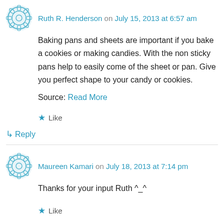Ruth R. Henderson on July 15, 2013 at 6:57 am
Baking pans and sheets are important if you bake a cookies or making candies. With the non sticky pans help to easily come of the sheet or pan. Give you perfect shape to your candy or cookies.
Source: Read More
★ Like
↳ Reply
Maureen Kamari on July 18, 2013 at 7:14 pm
Thanks for your input Ruth ^_^
★ Like
↳ Reply